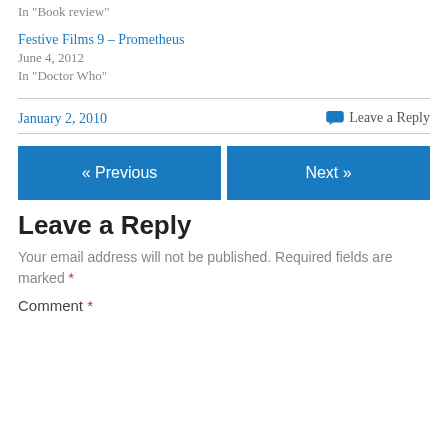In "Book review"
Festive Films 9 – Prometheus
June 4, 2012
In "Doctor Who"
January 2, 2010
Leave a Reply
« Previous
Next »
Leave a Reply
Your email address will not be published. Required fields are marked *
Comment *